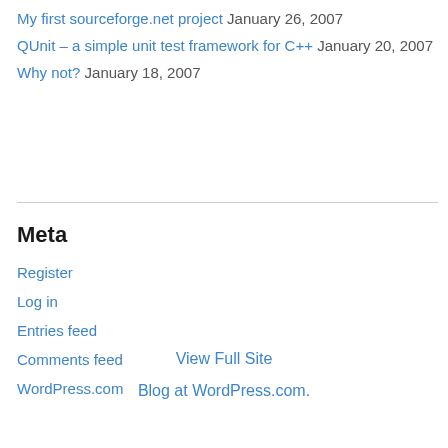My first sourceforge.net project January 26, 2007
QUnit – a simple unit test framework for C++ January 20, 2007
Why not? January 18, 2007
Meta
Register
Log in
Entries feed
Comments feed
WordPress.com
View Full Site
Blog at WordPress.com.